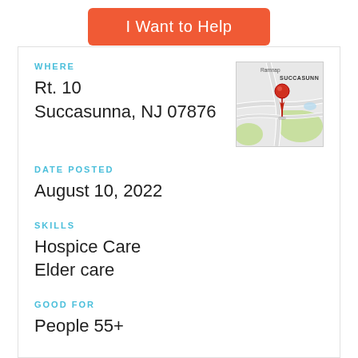I Want to Help
WHERE
Rt. 10
Succasunna, NJ 07876
[Figure (map): Map showing location pin in Succasunna, NJ area with road and green areas visible.]
DATE POSTED
August 10, 2022
SKILLS
Hospice Care
Elder care
GOOD FOR
People 55+